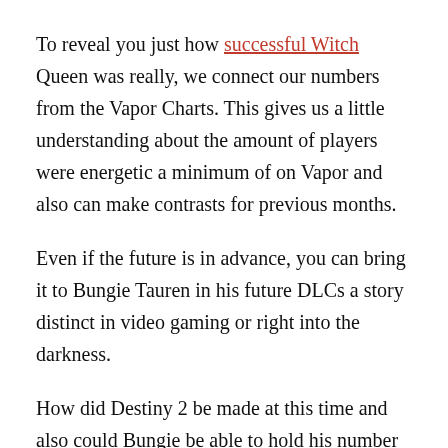To reveal you just how successful Witch Queen was really, we connect our numbers from the Vapor Charts. This gives us a little understanding about the amount of players were energetic a minimum of on Vapor and also can make contrasts for previous months.
Even if the future is in advance, you can bring it to Bungie Tauren in his future DLCs a story distinct in video gaming or right into the darkness.
How did Destiny 2 be made at this time and also could Bungie be able to hold his number of players or also elevate? ** When Witch Queen was launched, on February 22, 2022 289,895 players in Fate 2 online.